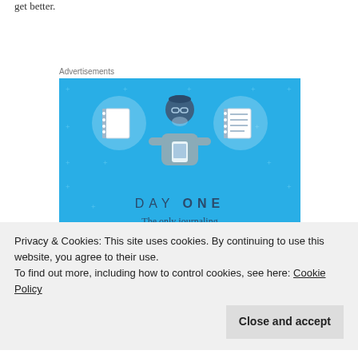get better.
Advertisements
[Figure (illustration): Day One journaling app advertisement. Blue background with sparkle dots. Three circular icons at top showing a blank notebook (left), a person holding a phone (center), and a lined notebook (right). Below: text 'DAY ONE' in spaced letters, subtitle 'The only journaling app you'll ever need.' and a dark blue 'Get the app' button.]
Privacy & Cookies: This site uses cookies. By continuing to use this website, you agree to their use. To find out more, including how to control cookies, see here: Cookie Policy
Close and accept